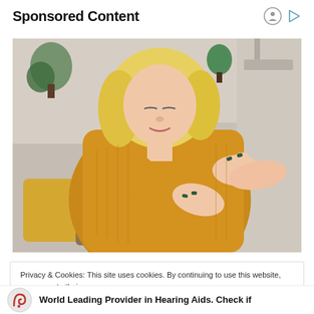Sponsored Content
[Figure (photo): A blonde woman in a yellow knit sweater sitting on a sofa, looking down at her elbow/wrist area with a concerned expression. She has dark green nail polish. Background shows pillows and interior decor.]
Privacy & Cookies: This site uses cookies. By continuing to use this website, you agree to their use.
To find out more, including how to control cookies, see here: Cookie Policy
Close and accept
World Leading Provider in Hearing Aids. Check if